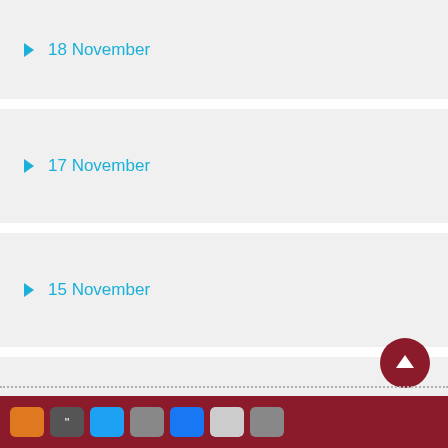18 November
17 November
15 November
Launch Campaign